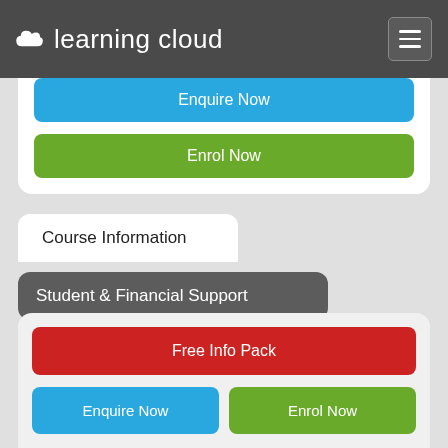[Figure (logo): Learning Cloud logo with white cloud icon and white text on dark grey header background]
Enquire Now
Enrol Now
Course Information
Student & Financial Support
Career Benefits
Free Info Pack
Enquire Now
Enrol Now